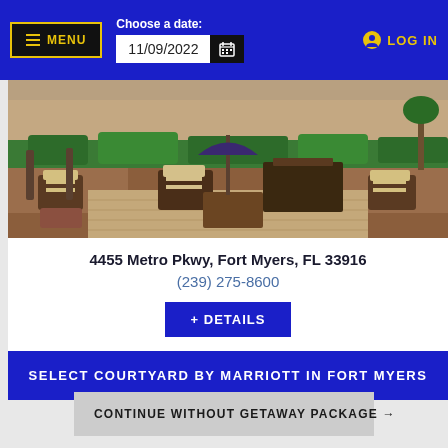MENU | Choose a date: 11/09/2022 | LOG IN
[Figure (photo): Outdoor courtyard patio with wicker furniture, striped cushions, brick walls, and lush green landscaping]
4455 Metro Pkwy, Fort Myers, FL 33916
(239) 275-8600
+ DETAILS
SELECT COURTYARD BY MARRIOTT IN FORT MYERS
CONTINUE WITHOUT GETAWAY PACKAGE →